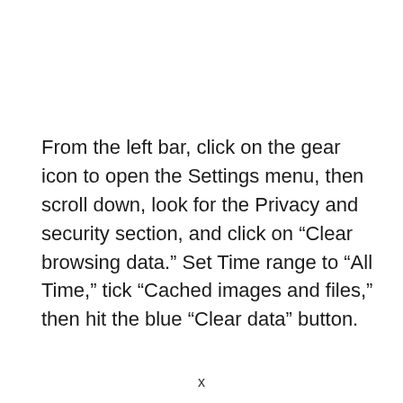From the left bar, click on the gear icon to open the Settings menu, then scroll down, look for the Privacy and security section, and click on “Clear browsing data.” Set Time range to “All Time,” tick “Cached images and files,” then hit the blue “Clear data” button.
×